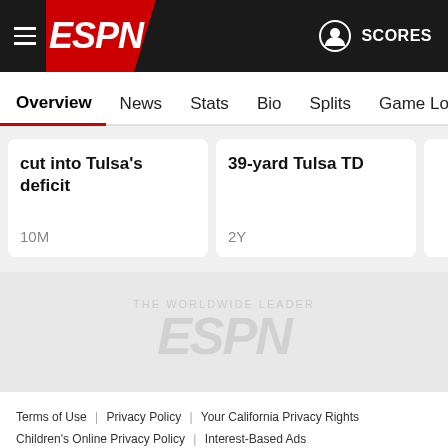ESPN - SCORES
Overview | News | Stats | Bio | Splits | Game Log
cut into Tulsa's deficit
10M
39-yard Tulsa TD
2Y
[Figure (logo): ESPN watermark logo in gray on light gray background]
Terms of Use | Privacy Policy | Your California Privacy Rights | Children's Online Privacy Policy | Interest-Based Ads | About Nielsen Measurement | Do Not Sell My Personal Information | Contact Us | Disney Ad Sales Site | Work for ESPN
Copyright: © ESPN Enterprises, Inc. All rights reserved.